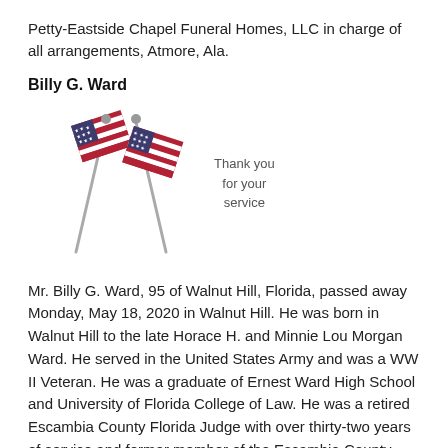Petty-Eastside Chapel Funeral Homes, LLC in charge of all arrangements, Atmore, Ala.
Billy G. Ward
[Figure (illustration): Two crossed American flags with the text 'Thank you for your service' beside them]
Mr. Billy G. Ward, 95 of Walnut Hill, Florida, passed away Monday, May 18, 2020 in Walnut Hill. He was born in Walnut Hill to the late Horace H. and Minnie Lou Morgan Ward. He served in the United States Army and was a WW II Veteran. He was a graduate of Ernest Ward High School and University of Florida College of Law. He was a retired Escambia County Florida Judge with over thirty-two years of service and former member of the Escambia County Florida Bar Association. He was the last remaining charter member of the Walnut Hill Bar...